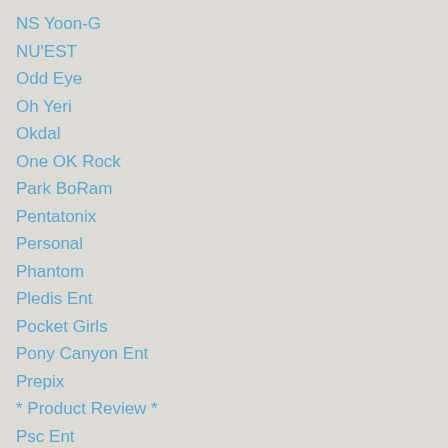NS Yoon-G
NU'EST
Odd Eye
Oh Yeri
Okdal
One OK Rock
Park BoRam
Pentatonix
Personal
Phantom
Pledis Ent
Pocket Girls
Pony Canyon Ent
Prepix
* Product Review *
Psc Ent
Queen B'z
Rainbow
Red Velvet
Rex. D
Rise Records
R...